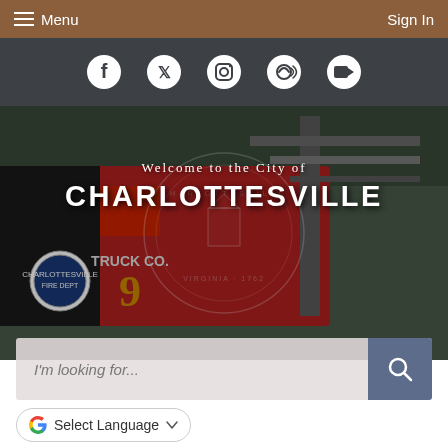Menu | Sign In
[Figure (screenshot): Social media icon bar with Facebook, Twitter, Instagram, audio/accessibility, and video camera icons on dark gray background]
[Figure (photo): Charlottesville fire truck (Truck Co. 9) background photo with city seal watermark overlay]
Welcome to the City of CHARLOTTESVILLE
I'm looking for...
Select Language